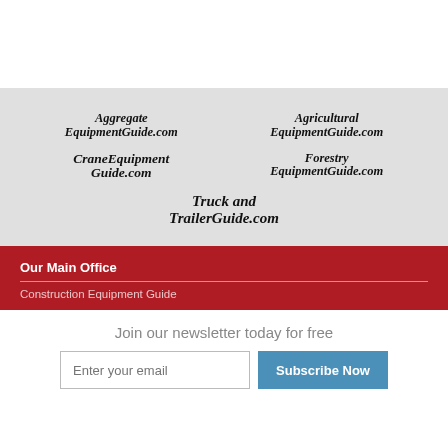[Figure (logo): AggregateEquipmentGuide.com logo text in bold italic serif font]
[Figure (logo): AgriculturalEquipmentGuide.com logo text in bold italic serif font]
[Figure (logo): CraneEquipmentGuide.com logo text in bold italic serif font]
[Figure (logo): ForestryEquipmentGuide.com logo text in bold italic serif font]
[Figure (logo): Truck and TrailerGuide.com logo text in bold italic serif font]
Our Main Office
Construction Equipment Guide
Join our newsletter today for free